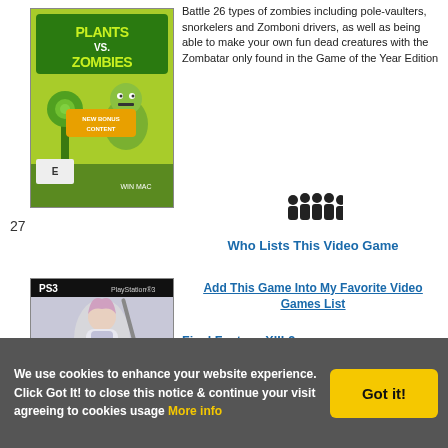[Figure (illustration): Plants vs. Zombies game cover art with green/yellow background showing zombie and plant characters]
27
Battle 26 types of zombies including pole-vaulters, snorkelers and Zomboni drivers, as well as being able to make your own fun dead creatures with the Zombatar only found in the Game of the Year Edition
[Figure (illustration): Group/people icon — silhouettes of multiple people indicating social/list feature]
Who Lists This Video Game
Add This Game Into My Favorite Video Games List
[Figure (illustration): Final Fantasy XIII-2 PS3 game cover art showing a female character in white outfit]
Final Fantasy XIII-2
Square Enix
Just as the monsters appear on screen, a dial clock called "Mog Clock" appears in the middle of the bottom half of the screen and a red ring surrounds the player's character
We use cookies to enhance your website experience. Click Got It! to close this notice & continue your visit agreeing to cookies usage More info
Got it!